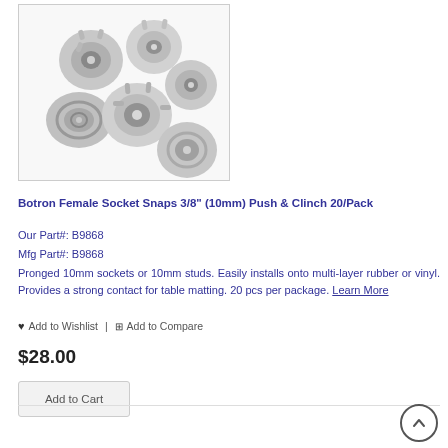[Figure (photo): Metal female socket snaps, silver/chrome colored, pronged 10mm type, multiple pieces shown in a pile]
Botron Female Socket Snaps 3/8" (10mm) Push & Clinch 20/Pack
Our Part#: B9868
Mfg Part#: B9868
Pronged 10mm sockets or 10mm studs. Easily installs onto multi-layer rubber or vinyl. Provides a strong contact for table matting. 20 pcs per package. Learn More
♥ Add to Wishlist  |  ⊞ Add to Compare
$28.00
Add to Cart